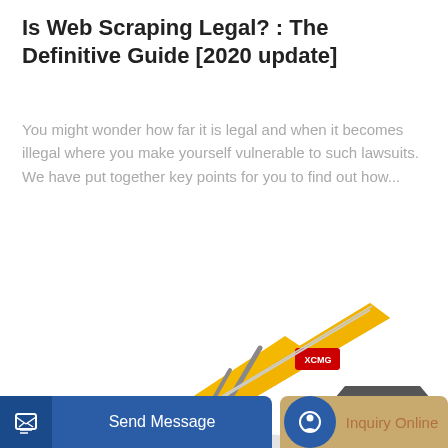Is Web Scraping Legal? : The Definitive Guide [2020 update]
You might wonder how far it is legal and when it becomes illegal where you make yourself vulnerable to such lawsuits. We have put together key points for you to find out how...
[Figure (other): A blue rounded button labeled 'Learn More']
[Figure (photo): A yellow XCMG excavator/digger on white background, showing the arm, bucket, and partial cab]
[Figure (other): Bottom navigation bar with 'Send Message' button in blue and 'Inquiry Online' button in tan/gold]